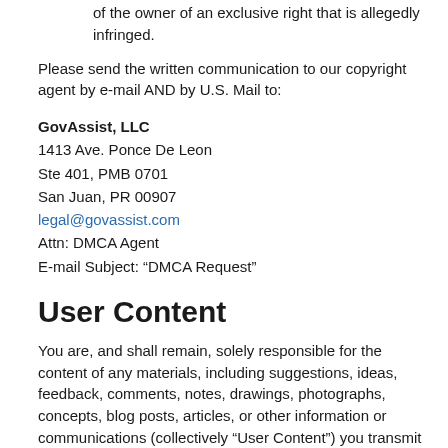of the owner of an exclusive right that is allegedly infringed.
Please send the written communication to our copyright agent by e-mail AND by U.S. Mail to:
GovAssist, LLC
1413 Ave. Ponce De Leon
Ste 401, PMB 0701
San Juan, PR 00907
legal@govassist.com
Attn: DMCA Agent
E-mail Subject: “DMCA Request”
User Content
You are, and shall remain, solely responsible for the content of any materials, including suggestions, ideas, feedback, comments, notes, drawings, photographs, concepts, blog posts, articles, or other information or communications (collectively “User Content”) you transmit to us via this Site, the Internet, email, or otherwise. User Content shall be and remain your